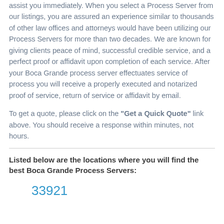assist you immediately. When you select a Process Server from our listings, you are assured an experience similar to thousands of other law offices and attorneys would have been utilizing our Process Servers for more than two decades. We are known for giving clients peace of mind, successful credible service, and a perfect proof or affidavit upon completion of each service. After your Boca Grande process server effectuates service of process you will receive a properly executed and notarized proof of service, return of service or affidavit by email.
To get a quote, please click on the "Get a Quick Quote" link above. You should receive a response within minutes, not hours.
Listed below are the locations where you will find the best Boca Grande Process Servers:
33921